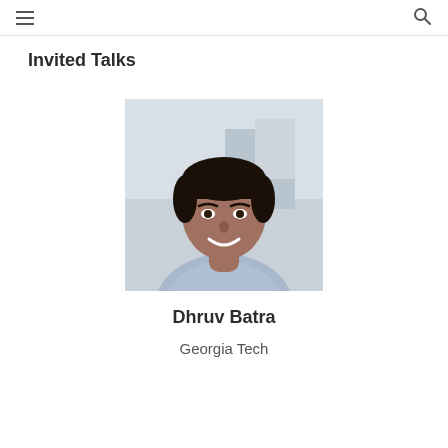Invited Talks
[Figure (photo): Headshot photo of Dhruv Batra, a man with dark hair, smiling, wearing a light blue checked shirt, with a blurred office background.]
Dhruv Batra
Georgia Tech